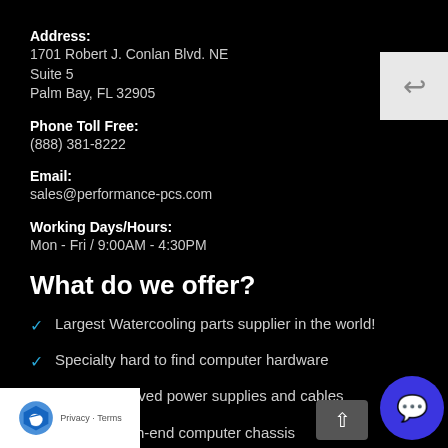Address:
1701 Robert J. Conlan Blvd. NE
Suite 5
Palm Bay, FL 32905
Phone Toll Free:
(888) 381-8222
Email:
sales@performance-pcs.com
Working Days/Hours:
Mon - Fri / 9:00AM - 4:30PM
What do we offer?
Largest Watercooling parts supplier in the world!
Specialty hard to find computer hardware
Custom sleeved power supplies and cables
Modified high-end computer chassis
Cutting,fabrication, and etching services
Laser cutting for logos, images and other artwork